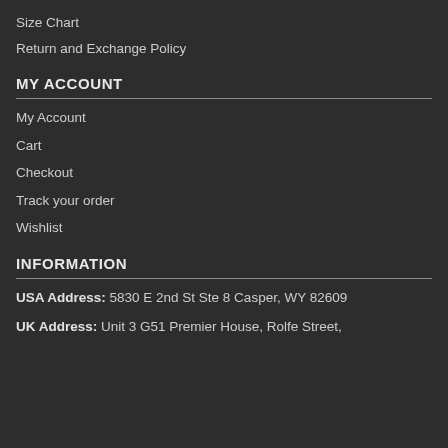Size Chart
Return and Exchange Policy
MY ACCOUNT
My Account
Cart
Checkout
Track your order
Wishlist
INFORMATION
USA Address: 5830 E 2nd St Ste 8 Casper, WY 82609
UK Address: Unit 3 G51 Premier House, Rolfe Street,